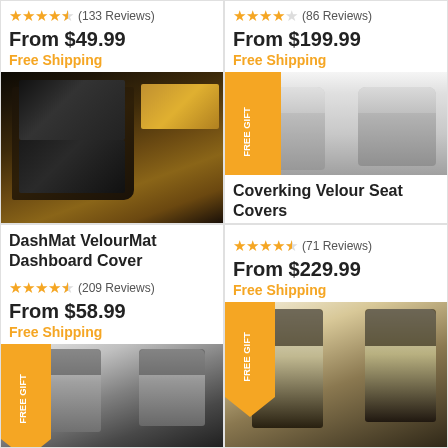[Figure (screenshot): Product grid showing 4 auto accessory items with ratings, prices, and product images]
★★★★½ (133 Reviews)
From $49.99
Free Shipping
★★★★☆ (86 Reviews)
From $199.99
Free Shipping
[Figure (photo): DashMat VelourMat Dashboard Cover - brown velour material on car dashboard interior]
[Figure (photo): Coverking Velour Seat Covers - gray velour car seat covers on two front seats]
DashMat VelourMat Dashboard Cover
Coverking Velour Seat Covers
★★★★½ (209 Reviews)
From $58.99
Free Shipping
★★★★½ (71 Reviews)
From $229.99
Free Shipping
[Figure (photo): Car seat covers - dark/charcoal seat covers with gray center panel on two front seats, FREE GIFT ribbon]
[Figure (photo): Car seat covers - black seat covers with beige/cream center panel on two front seats, FREE GIFT ribbon]